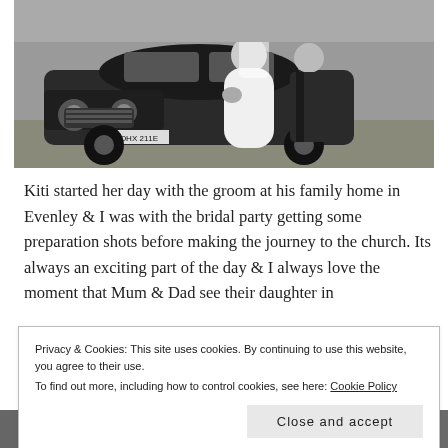[Figure (photo): Black and white wedding photo showing a bride and groom standing in front of a classic vintage car with license plate OHX 211E, on a grass lawn.]
Kiti started her day with the groom at his family home in Evenley & I was with the bridal party getting some preparation shots before making the journey to the church. Its always an exciting part of the day & I always love the moment that Mum & Dad see their daughter in
Privacy & Cookies: This site uses cookies. By continuing to use this website, you agree to their use.
To find out more, including how to control cookies, see here: Cookie Policy
Close and accept
[Figure (photo): Partial bottom strip showing black and white wedding preparation photos.]